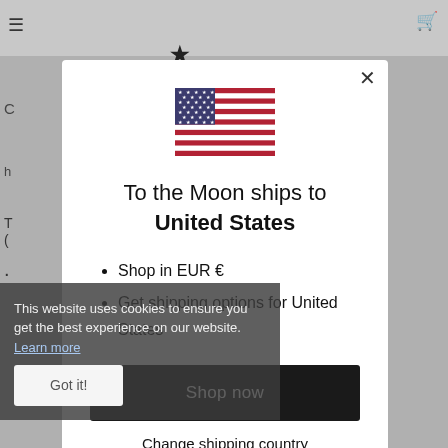[Figure (screenshot): Modal dialog overlay on a website. Shows a US flag, text 'To the Moon ships to United States', bullet points about shopping in EUR and shipping options, a 'Shop now' button, and a 'Change shipping country' link. A cookie consent bar is partially visible at the bottom left.]
To the Moon ships to United States
Shop in EUR €
Get shipping options for United States
Shop now
Change shipping country
This website uses cookies to ensure you get the best experience on our website.  Learn more
Got it!